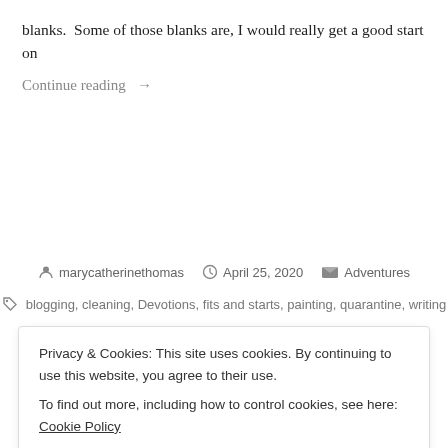blanks.  Some of those blanks are, I would really get a good start on
Continue reading  →
marycatherinethomas  April 25, 2020  Adventures
blogging, cleaning, Devotions, fits and starts, painting, quarantine, writing
Privacy & Cookies: This site uses cookies. By continuing to use this website, you agree to their use.
To find out more, including how to control cookies, see here: Cookie Policy
Close and accept